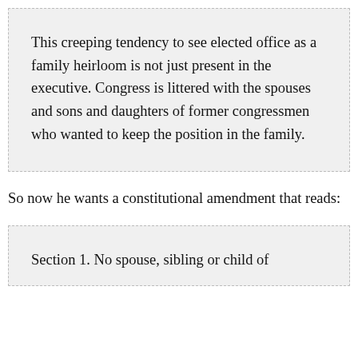This creeping tendency to see elected office as a family heirloom is not just present in the executive. Congress is littered with the spouses and sons and daughters of former congressmen who wanted to keep the position in the family.
So now he wants a constitutional amendment that reads:
Section 1. No spouse, sibling or child of